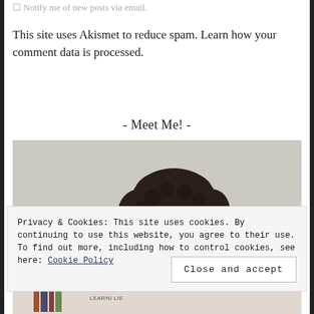☐ Notify me of new posts via email.
This site uses Akismet to reduce spam. Learn how your comment data is processed.
- Meet Me! -
[Figure (photo): A photo of a person with curly dark hair, partially visible, shown from neck up against a light neutral background.]
Privacy & Cookies: This site uses cookies. By continuing to use this website, you agree to their use.
To find out more, including how to control cookies, see here: Cookie Policy